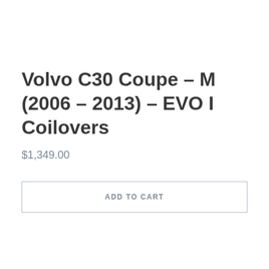Volvo C30 Coupe – M (2006 – 2013) – EVO I Coilovers
$1,349.00
ADD TO CART